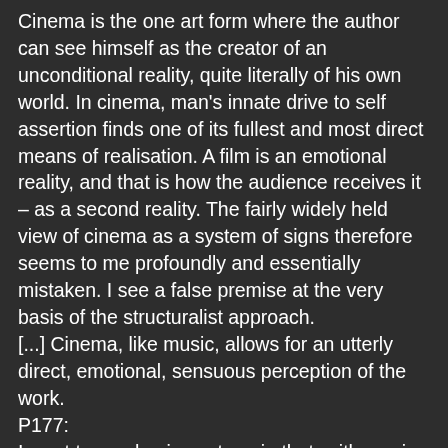Cinema is the one art form where the author can see himself as the creator of an unconditional reality, quite literally of his own world. In cinema, man's innate drive to self assertion finds one of its fullest and most direct means of realisation. A film is an emotional reality, and that is how the audience receives it – as a second reality. The fairly widely held view of cinema as a system of signs therefore seems to me profoundly and essentially mistaken. I see a false premise at the very basis of the structuralist approach.
[...] Cinema, like music, allows for an utterly direct, emotional, sensuous perception of the work.
P177:
I want to emphasise yet again that, with music, cinema is an art which operates with reality.
P178:
Aesthetic norms are therefore wished upon the